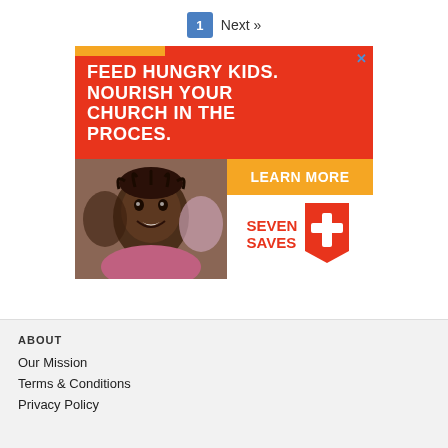1  Next »
[Figure (illustration): Advertisement banner: red background with white bold text 'FEED HUNGRY KIDS. NOURISH YOUR CHURCH IN THE PROCES.' with a photo of a smiling African child, a gold 'LEARN MORE' button, and Seven Saves logo with cross icon on the right side.]
ABOUT
Our Mission
Terms & Conditions
Privacy Policy